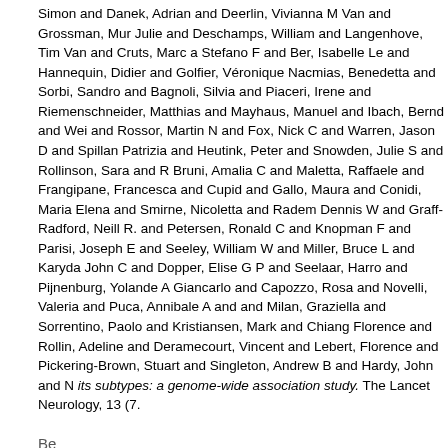Simon and Danek, Adrian and Deerlin, Vivianna M Van and Grossman, Mur Julie and Deschamps, William and Langenhove, Tim Van and Cruts, Marc a Stefano F and Ber, Isabelle Le and Hannequin, Didier and Golfier, Véronique Nacmias, Benedetta and Sorbi, Sandro and Bagnoli, Silvia and Piaceri, Irene and Riemenschneider, Matthias and Mayhaus, Manuel and Ibach, Bernd and Wei and Rossor, Martin N and Fox, Nick C and Warren, Jason D and Spillan Patrizia and Heutink, Peter and Snowden, Julie S and Rollinson, Sara and R Bruni, Amalia C and Maletta, Raffaele and Frangipane, Francesca and Cupid and Gallo, Maura and Conidi, Maria Elena and Smirne, Nicoletta and Radem Dennis W and Graff-Radford, Neill R. and Petersen, Ronald C and Knopman F and Parisi, Joseph E and Seeley, William W and Miller, Bruce L and Karyda John C and Dopper, Elise G P and Seelaar, Harro and Pijnenburg, Yolande A Giancarlo and Capozzo, Rosa and Novelli, Valeria and Puca, Annibale A and and Milan, Graziella and Sorrentino, Paolo and Kristiansen, Mark and Chiang Florence and Rollin, Adeline and Deramecourt, Vincent and Lebert, Florence and Pickering-Brown, Stuart and Singleton, Andrew B and Hardy, John and N its subtypes: a genome-wide association study. The Lancet Neurology, 13 (7.
Be
Ferrari, Raffaele and Hernandez, Dena G and Nalls, Michael A and Rohrer, J Kwok, John B J and Dobson-Stone, Carol and Brooks, William S and Schofie John R and Piguet, Olivier and Bartley, Lauren and Thompson, Elizabeth and Agustin and Boada, Mercè and Borroni, Barbara and Padovani, Alessandro a Benussi, Luisa and Binetti, Giuliano and Ghidoni, Roberta and Forloni, Gianlu and Serpente, Maria and Scarpini, Elio and Clarimón, Jordi and Lleó, Alberto and Nilsson, Karin and Nilsson, Christer and Mackenzie, Ian R A and Hsiung Grafman, Jordan and Morris, Christopher M and Attems, Johannes and Griffi Alan J and Pietrini, Pietro and Huey, Edward D and Wassermann, Eric M, an